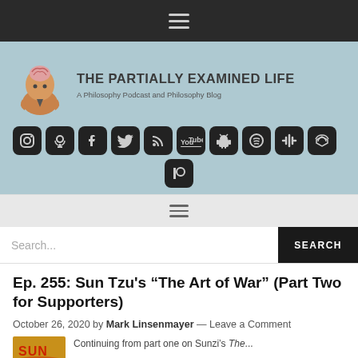Navigation menu (hamburger icon)
[Figure (logo): The Partially Examined Life website header with illustrated logo of a man examining his brain, site title and tagline, and social media icons for Instagram, Podcasts, Facebook, Twitter, RSS, YouTube, Android, Spotify, Google Podcasts, Audible, and Patreon]
Secondary navigation menu (hamburger icon)
Search...
Ep. 255: Sun Tzu’s “The Art of War” (Part Two for Supporters)
October 26, 2020 by Mark Linsenmayer — Leave a Comment
Continuing from part one on Sunzi’s The...